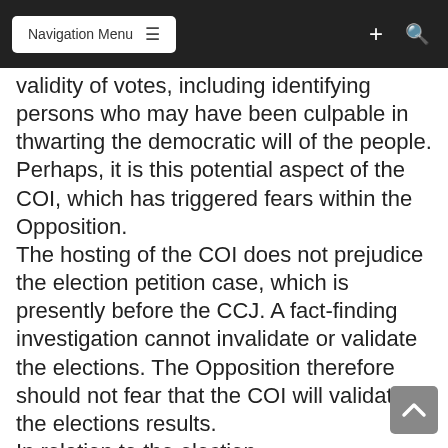Navigation Menu
validity of votes, including identifying persons who may have been culpable in thwarting the democratic will of the people. Perhaps, it is this potential aspect of the COI, which has triggered fears within the Opposition. The hosting of the COI does not prejudice the election petition case, which is presently before the CCJ. A fact-finding investigation cannot invalidate or validate the elections. The Opposition therefore should not fear that the COI will validate the elections results. In relation to the election